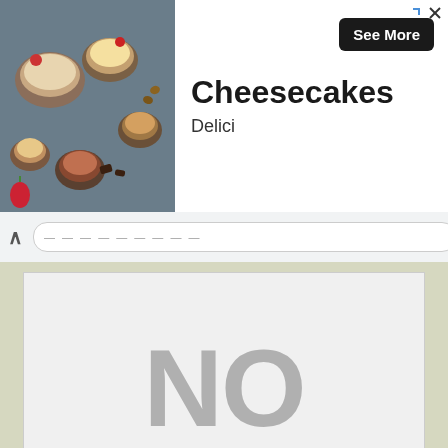[Figure (photo): Advertisement banner showing cheesecakes in jars with text 'Cheesecakes' and 'Delici' and a 'See More' button]
[Figure (screenshot): Browser navigation bar with back arrow and URL bar]
[Figure (other): No Image Available placeholder with grey text on light grey background, with reCAPTCHA badge in bottom right corner]